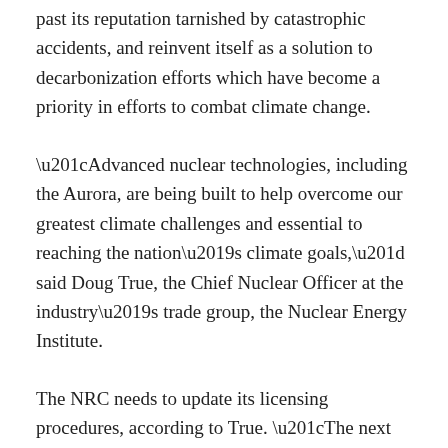past its reputation tarnished by catastrophic accidents, and reinvent itself as a solution to decarbonization efforts which have become a priority in efforts to combat climate change.
“Advanced nuclear technologies, including the Aurora, are being built to help overcome our greatest climate challenges and essential to reaching the nation’s climate goals,” said Doug True, the Chief Nuclear Officer at the industry’s trade group, the Nuclear Energy Institute.
The NRC needs to update its licensing procedures, according to True. “The next generation of nuclear technologies are being designed with inherent safety features and will require the NRC to modernize their approach in licensing the carbon-free nuclear reactors of the future,” he said.